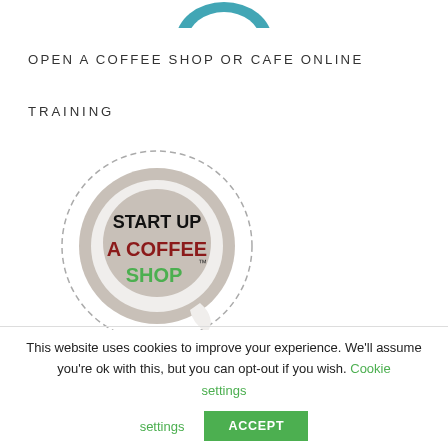[Figure (logo): Partial blue logo visible at top center of page]
OPEN A COFFEE SHOP OR CAFE ONLINE
TRAINING
[Figure (logo): Start Up A Coffee Shop circular logo with dashed border. Text reads START UP in black, A COFFEE in red/dark red, SHOP in green, with TM mark. Coffee cup graphic inside circle.]
This website uses cookies to improve your experience. We'll assume you're ok with this, but you can opt-out if you wish. Cookie settings
ACCEPT